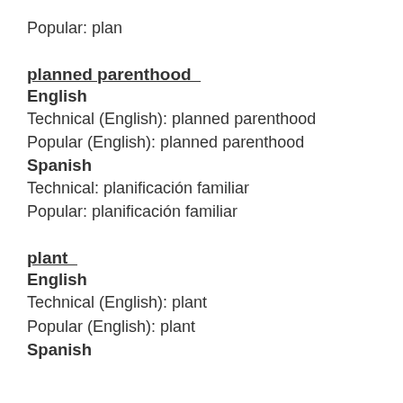Popular: plan
planned parenthood
English
Technical (English): planned parenthood
Popular (English): planned parenthood
Spanish
Technical: planificación familiar
Popular: planificación familiar
plant
English
Technical (English): plant
Popular (English): plant
Spanish